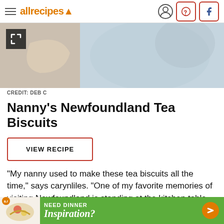allrecipes
[Figure (photo): Close-up photo of biscuit/pastry with decorative blue and white fabric in background]
CREDIT: DEB C
Nanny's Newfoundland Tea Biscuits
VIEW RECIPE
"My nanny used to make these tea biscuits all the time," says carynliles. "One of my favorite memories of visiting Newfoundland is standing at the kitchen table
[Figure (screenshot): Advertisement banner: NEED DINNER Inspiration? with food image and arrow button]